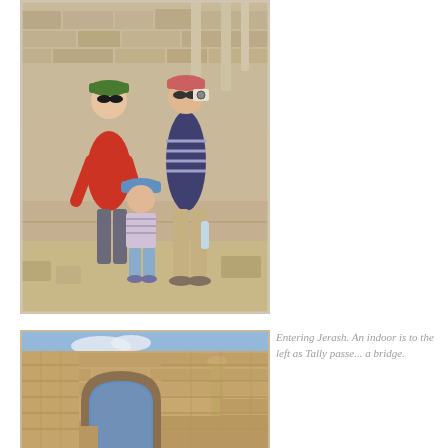[Figure (photo): Three people standing at ancient ruins site. A woman in a red shirt and green cap, a child in a blue hat and striped top, and a taller person in a striped shirt and khaki pants holding a water bottle and a camera. Sandy stone ruins in background.]
[Figure (photo): Ancient stone archway and ruins at Jerash, Jordan. Stone arch gateway with columns and ancient walls visible against a blue sky.]
Entering Jerash. An indoor is to the left as Tally passe... a bridge.